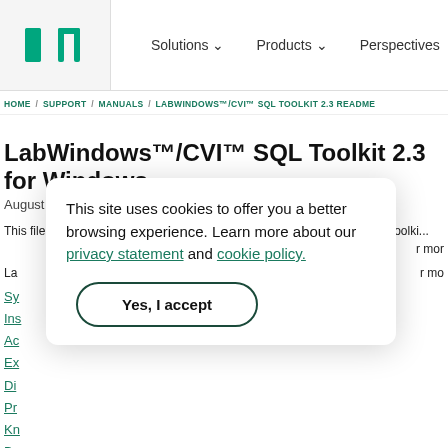NI logo | Solutions | Products | Perspectives
HOME / SUPPORT / MANUALS / LABWINDOWS™/CVI™ SQL TOOLKIT 2.3 README
LabWindows™/CVI™ SQL Toolkit 2.3 for Windows
August 2015
This file contains important information about the LabWindows/CVI SQL Toolkit. La... r mo...
Sy...
Ins...
Ac...
Ex...
Di...
Pr...
Kn...
Bu...
This site uses cookies to offer you a better browsing experience. Learn more about our privacy statement and cookie policy.
[Yes, I accept]